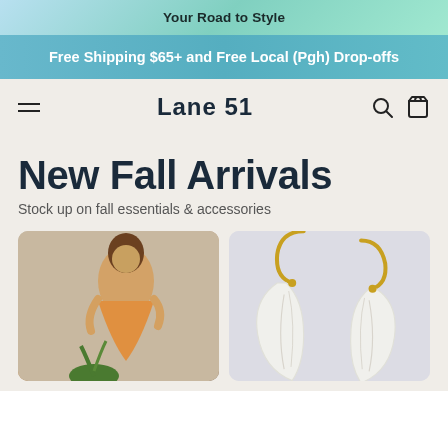Your Road to Style
Free Shipping $65+ and Free Local (Pgh) Drop-offs
Lane 51
New Fall Arrivals
Stock up on fall essentials & accessories
[Figure (photo): Woman in orange sequin dress]
[Figure (photo): White leather leaf earrings with gold hooks]